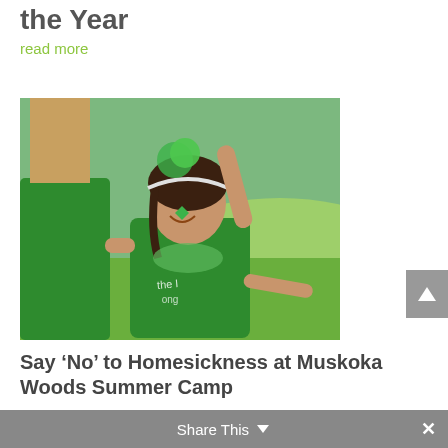the Year
read more
[Figure (photo): A young girl in a green t-shirt with arms outstretched, wearing green accessories including pom-poms, with face paint, smiling outdoors on a green grassy field at summer camp. Another person in green is partially visible to the left.]
Say ‘No’ to Homesickness at Muskoka Woods Summer Camp
read more
Share This  ×